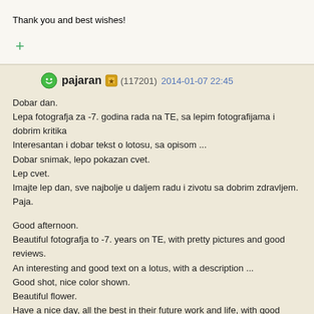Thank you and best wishes!
+
pajaran (117201) 2014-01-07 22:45
Dobar dan.
Lepa fotografja za -7. godina rada na TE, sa lepim fotografijama i dobrim kritika
Interesantan i dobar tekst o lotosu, sa opisom ...
Dobar snimak, lepo pokazan cvet.
Lep cvet.
Imajte lep dan, sve najbolje u daljem radu i zivotu sa dobrim zdravljem.
Paja.

Good afternoon.
Beautiful fotografja to -7. years on TE, with pretty pictures and good reviews.
An interesting and good text on a lotus, with a description ...
Good shot, nice color shown.
Beautiful flower.
Have a nice day, all the best in their future work and life, with good health.
Paja.
aliabazari (23401) 2014-01-09 6:46
Salut MarieLouise Cher ami
Il s'agit d'un portrait d'une très belle, avec des couleurs éclatantes. Très mignon